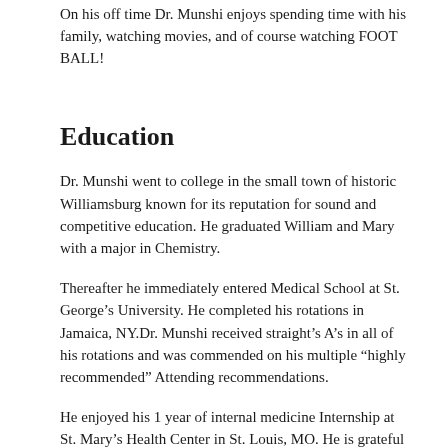On his off time Dr. Munshi enjoys spending time with his family, watching movies, and of course watching FOOT BALL!
Education
Dr. Munshi went to college in the small town of historic Williamsburg known for its reputation for sound and competitive education. He graduated William and Mary with a major in Chemistry.
Thereafter he immediately entered Medical School at St. George’s University. He completed his rotations in Jamaica, NY.Dr. Munshi received straight’s A’s in all of his rotations and was commended on his multiple “highly recommended” Attending recommendations.
He enjoyed his 1 year of internal medicine Internship at St. Mary’s Health Center in St. Louis, MO. He is grateful to St. Mary’s for providing him a sound background in Internal Medicine.
Thereafter he entered Residency in the field of Physical Medicine & Rehabilitation (PM & R). It is an Accredited Residency program through Baylor College of Medicine. Here he had the opportunity to